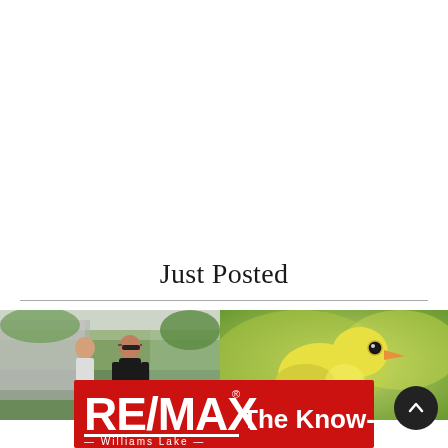Just Posted
[Figure (photo): Two people outdoors, one wearing sunglasses and a black shirt, near a fence with greenery in the background]
[Figure (photo): Close-up of a yellow bird (warbler) facing right against a blurred background]
[Figure (logo): RE/MAX Williams Lake logo with tagline 'The Know-How' on a red background]